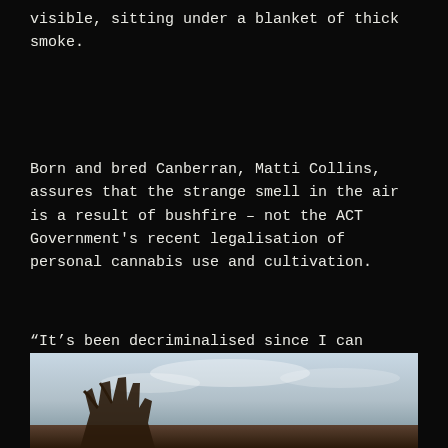visible, sitting under a blanket of thick smoke.
Born and bred Canberran, Matti Collins, assures that the strange smell in the air is a result of bushfire – not the ACT Government's recent legalisation of personal cannabis use and cultivation.
“It’s been decriminalised since I can remember,” he says. “As long as it was outdoors we were always fine, to a certain amount.”
[Figure (photo): Photograph showing hands holding something against a cloudy sky background, partially visible at bottom of page.]